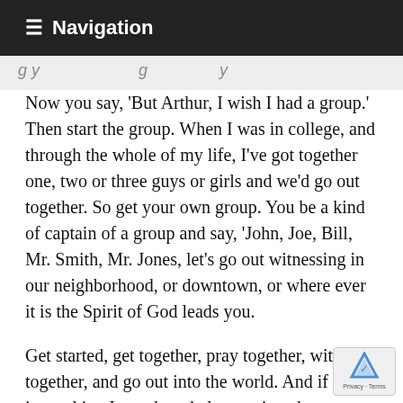≡ Navigation
g y                    g              y
Now you say, 'But Arthur, I wish I had a group.' Then start the group. When I was in college, and through the whole of my life, I've got together one, two or three guys or girls and we'd go out together. So get your own group. You be a kind of captain of a group and say, 'John, Joe, Bill, Mr. Smith, Mr. Jones, let's go out witnessing in our neighborhood, or downtown, or where ever it is the Spirit of God leads you.
Get started, get together, pray together, witness together, and go out into the world. And if there is anything I can do to help you, just drop me a note. I'll send you gospel tracts, Jesus stickers, and share you in any way I can; to help you get out there, mo for God. Truly, the fields are ripe for harvest. Now is the